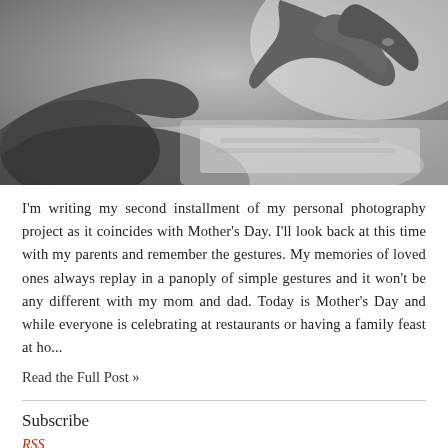[Figure (photo): Black and white photo of an elderly person's hand being held by a younger person, viewed from above with blurred background]
I'm writing my second installment of my personal photography project as it coincides with Mother's Day. I'll look back at this time with my parents and remember the gestures. My memories of loved ones always replay in a panoply of simple gestures and it won't be any different with my mom and dad. Today is Mother's Day and while everyone is celebrating at restaurants or having a family feast at ho...
Read the Full Post »
Subscribe
RSS